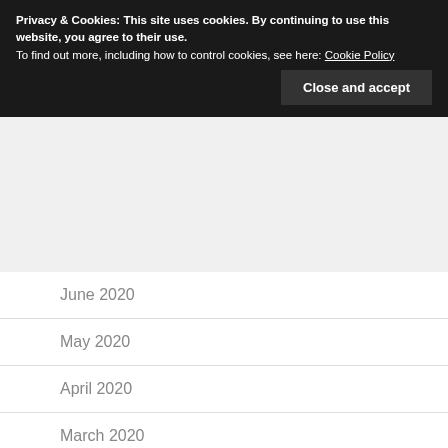September 2020
Privacy & Cookies: This site uses cookies. By continuing to use this website, you agree to their use.
To find out more, including how to control cookies, see here: Cookie Policy
Close and accept
June 2020
May 2020
April 2020
March 2020
February 2020
January 2020
December 2019